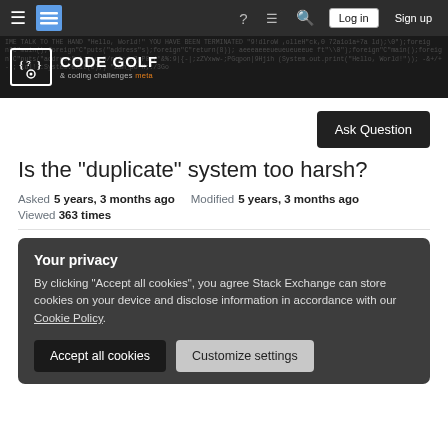Code Golf & coding challenges meta — navigation bar with Log in and Sign up buttons
[Figure (logo): Code Golf & coding challenges meta site logo with dark background and code text]
Ask Question
Is the "duplicate" system too harsh?
Asked 5 years, 3 months ago   Modified 5 years, 3 months ago
Viewed 363 times
Your privacy
By clicking "Accept all cookies", you agree Stack Exchange can store cookies on your device and disclose information in accordance with our Cookie Policy.
Accept all cookies   Customize settings